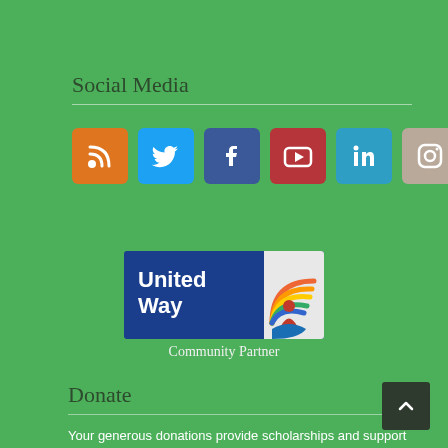Social Media
[Figure (infographic): Six social media icon buttons: RSS (orange), Twitter (blue), Facebook (dark blue), YouTube (red), LinkedIn (light blue), Instagram (beige/tan)]
[Figure (logo): United Way logo with rainbow and hands graphic, labeled 'Community Partner' below]
Donate
Your generous donations provide scholarships and support for families to get the services they need.
[Figure (infographic): PayPal Donate button (yellow) and payment method icons (Visa, Mastercard, Maestro, American Express, Discover, and another card)]
[Figure (infographic): Back to top button (dark square with upward arrow)]